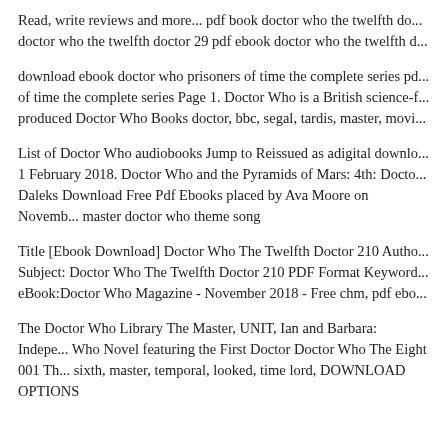Read, write reviews and more... pdf book doctor who the twelfth do... doctor who the twelfth doctor 29 pdf ebook doctor who the twelfth d...
download ebook doctor who prisoners of time the complete series pd... of time the complete series Page 1. Doctor Who is a British science-f... produced Doctor Who Books doctor, bbc, segal, tardis, master, movi...
List of Doctor Who audiobooks Jump to Reissued as adigital downlo... 1 February 2018. Doctor Who and the Pyramids of Mars: 4th: Docto... Daleks Download Free Pdf Ebooks placed by Ava Moore on Novemb... master doctor who theme song
Title [Ebook Download] Doctor Who The Twelfth Doctor 210 Autho... Subject: Doctor Who The Twelfth Doctor 210 PDF Format Keyword... eBook:Doctor Who Magazine - November 2018 - Free chm, pdf ebo...
The Doctor Who Library The Master, UNIT, Ian and Barbara: Indepe... Who Novel featuring the First Doctor Doctor Who The Eight 001 Th... sixth, master, temporal, looked, time lord, DOWNLOAD OPTIONS